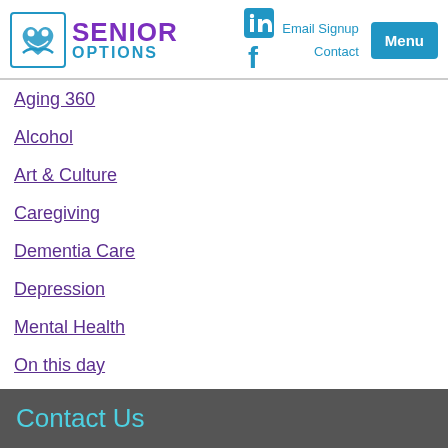[Figure (logo): Senior Options logo with heart/people icon, purple SENIOR text and blue OPTIONS text]
Aging 360
Alcohol
Art & Culture
Caregiving
Dementia Care
Depression
Mental Health
On this day
Uncategorized
Contact Us